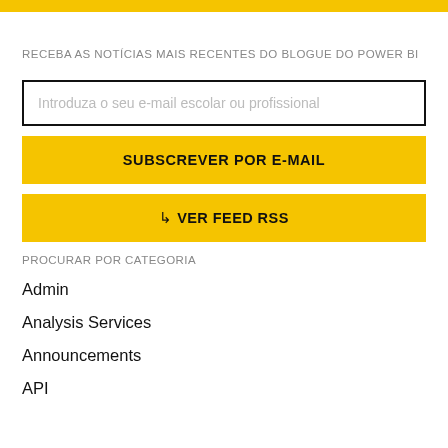RECEBA AS NOTÍCIAS MAIS RECENTES DO BLOGUE DO POWER BI
Introduza o seu e-mail escolar ou profissional
SUBSCREVER POR E-MAIL
VER FEED RSS
PROCURAR POR CATEGORIA
Admin
Analysis Services
Announcements
API